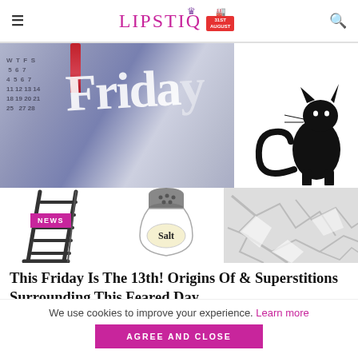LIPSTIQ — navigation header with hamburger menu, logo, and search icon
[Figure (photo): Composite image: Friday the 13th calendar with lipstick marker on Friday, black cat silhouette, ladder illustration, salt shaker labeled 'Salt', cracked ground texture, with NEWS badge overlay]
This Friday Is The 13th! Origins Of & Superstitions Surrounding This Feared Day
We use cookies to improve your experience. Learn more
AGREE AND CLOSE